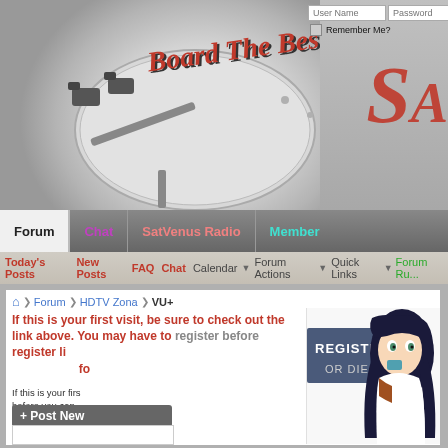[Figure (screenshot): Forum website header with satellite dish logo and 'Board The Best' branding, login fields for User Name and Password with Remember Me checkbox, and partial red logo on right]
[Figure (screenshot): Navigation bar with Forum, Chat, SatVenus Radio, Member tabs]
[Figure (screenshot): Sub-navigation bar with Today's Posts, FAQ, Calendar, Forum Actions, Quick Links, Forum Rules]
Forum ❯ HDTV Zona ❯ VU+
If this is your first visit, be sure to check out the link above. You may have to register before you can post: click the register link above to proceed. To start viewing messages, select the forum that you want to visit from the selection below.
[Figure (illustration): Anime girl character with 'REGISTER OR DIE' text banner overlay]
If this is your first visit, be sure to check out the FAQ by clicking the link above. You may have to register before you can post: click the register link above to proceed.
+ Post New
Forum: VU+